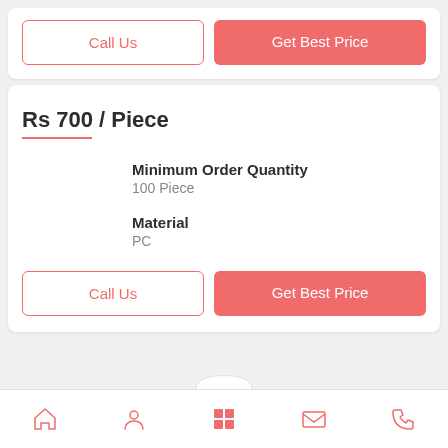Call Us
Get Best Price
Rs 700 / Piece
Minimum Order Quantity
100 Piece
Material
PC
Call Us
Get Best Price